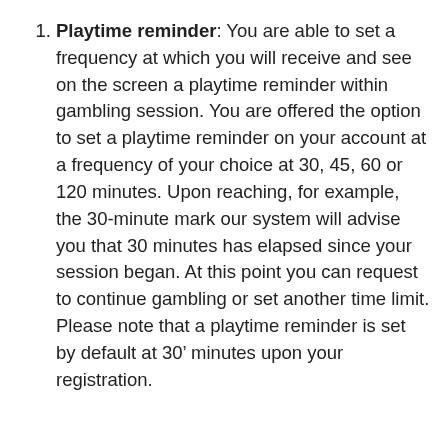Playtime reminder: You are able to set a frequency at which you will receive and see on the screen a playtime reminder within gambling session. You are offered the option to set a playtime reminder on your account at a frequency of your choice at 30, 45, 60 or 120 minutes. Upon reaching, for example, the 30-minute mark our system will advise you that 30 minutes has elapsed since your session began. At this point you can request to continue gambling or set another time limit. Please note that a playtime reminder is set by default at 30' minutes upon your registration.